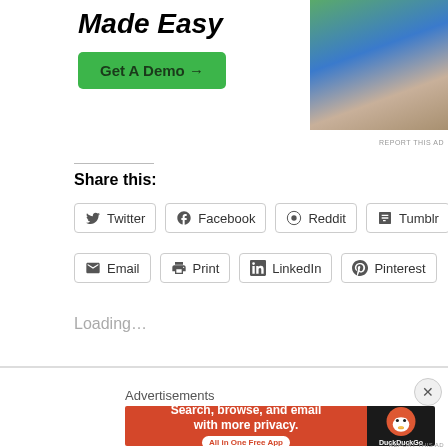[Figure (screenshot): Advertisement banner with 'Made Easy' title in bold italic, green 'Get A Demo →' button, and photo of two people at a laptop on the right side. 'REPORT THIS AD' text in bottom-right of ad.]
Share this:
[Figure (screenshot): Row of social share buttons: Twitter, Facebook, Reddit, Tumblr]
[Figure (screenshot): Row of social share buttons: Email, Print, LinkedIn, Pinterest]
Loading...
[Figure (screenshot): Dark band with blue streak, close X button. Below: 'Advertisements' label and DuckDuckGo banner ad with orange left panel ('Search, browse, and email with more privacy. All in One Free App') and dark right panel with DuckDuckGo duck logo and name.]